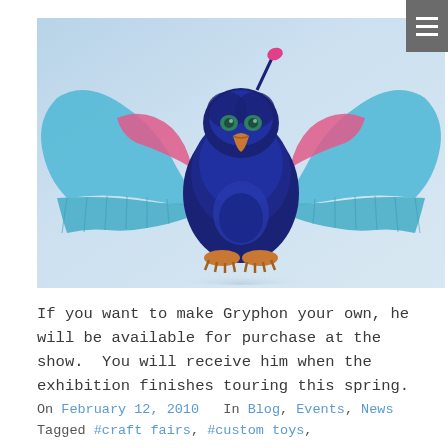[Figure (photo): A handcrafted gryphon toy/sculpture with dark navy blue body, light blue wings with pink accents, an orange beak, green eyes, and a pink antenna-like protrusion on top. Wings are spread wide. Set against a light blue-white background.]
If you want to make Gryphon your own, he will be available for purchase at the show.  You will receive him when the exhibition finishes touring this spring.
On February 12, 2010  In Blog, Events, News  Tagged #craft fairs, #custom toys,